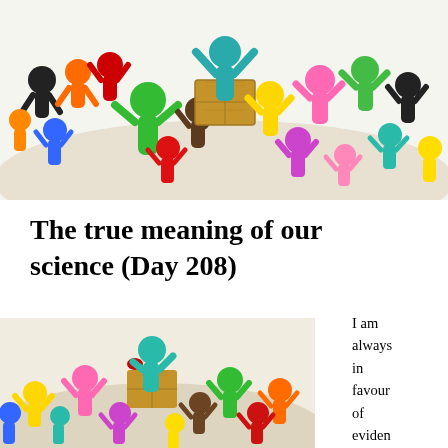[Figure (photo): Colorful clay figurines crowd scene with a teal figure standing on a cardboard box, arms raised, surrounded by many colorful clay people figures with arms up]
The true meaning of our science (Day 208)
[Figure (photo): Colorful clay figurines crowd scene similar to top image, with teal figure on cardboard box holding something red, surrounded by colorful clay people]
I am always in favour of evidence-